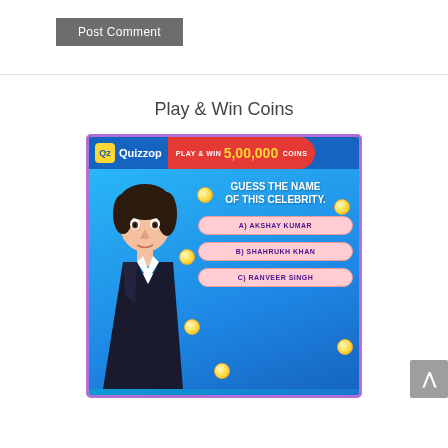Post Comment
Play & Win Coins
[Figure (illustration): Quizzop advertisement banner showing a celebrity quiz game. Header reads 'Quizzop PLAY & WIN 5,00,000 COINS' on blue/red background. Center shows animated celebrity figure with text 'GUESS THE NAME OF THIS CELEBRITY.' and three answer options: A) AKSHAY KUMAR, B) SHAHRUKH KHAN, C) RANVEER SINGH. Gold coins scattered around. Purple border.]